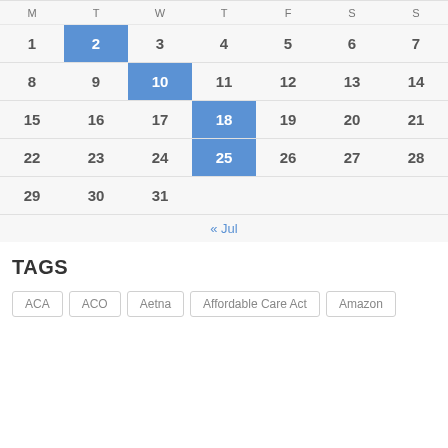| M | T | W | T | F | S | S |
| --- | --- | --- | --- | --- | --- | --- |
| 1 | 2 | 3 | 4 | 5 | 6 | 7 |
| 8 | 9 | 10 | 11 | 12 | 13 | 14 |
| 15 | 16 | 17 | 18 | 19 | 20 | 21 |
| 22 | 23 | 24 | 25 | 26 | 27 | 28 |
| 29 | 30 | 31 |  |  |  |  |
« Jul
TAGS
ACA
ACO
Aetna
Affordable Care Act
Amazon